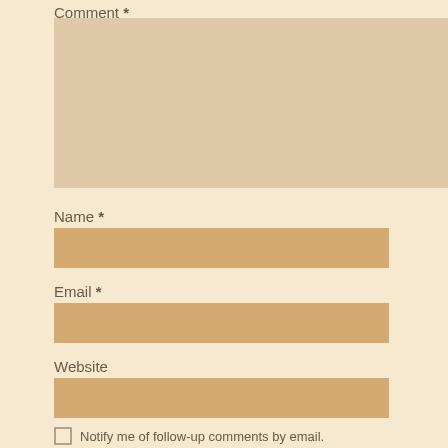Comment *
[Figure (other): Comment text area input box, large beige/tan rectangle]
Name *
[Figure (other): Name input field, tan rectangle]
Email *
[Figure (other): Email input field, tan rectangle]
Website
[Figure (other): Website input field, tan rectangle]
Notify me of follow-up comments by email.